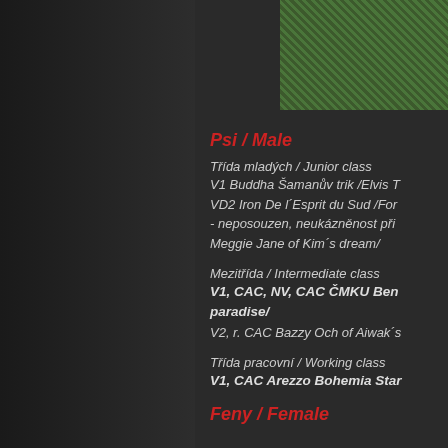[Figure (photo): Grass/outdoor background photo in top right corner]
Psi / Male
Třída mladých / Junior class
V1 Buddha Šamanův trik /Elvis T
VD2 Iron De l´Esprit du Sud /For
- neposouzen, neukázněnost při
Meggie Jane of Kim´s dream/
Mezitřída / Intermediate class
V1, CAC, NV, CAC ČMKU Ben paradise/
V2, r. CAC Bazzy Och of Aiwak´s
Třída pracovní / Working class
V1, CAC Arezzo Bohemia Star
Feny / Female